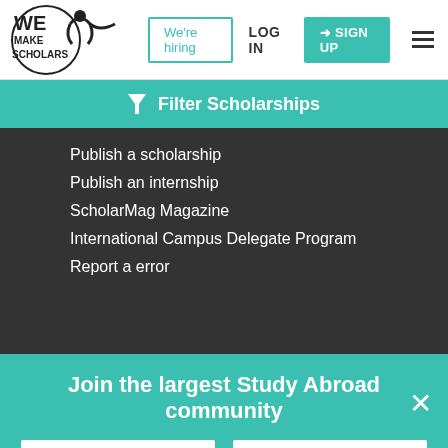[Figure (logo): WeMakeScholars logo with circle and text WE MAKE SCHOLARS]
We're hiring
LOG IN
SIGN UP
Filter Scholarships
Publish a scholarship
Publish an internship
ScholarMag Magazine
International Campus Delegate Program
Report a error
WeMakeScholars
WeMakeScholars is a Not-just-for-Profit organization and India's
Join the largest Study Abroad community
Log in
Sign up